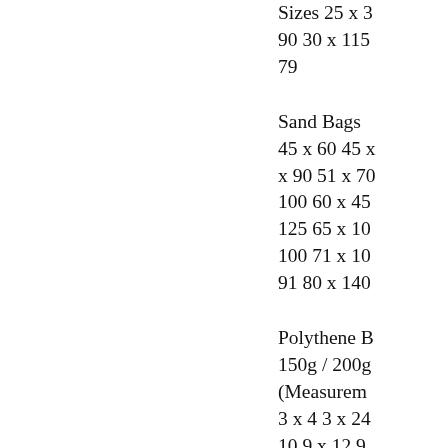Sizes 25 x 3 90 30 x 115 79
Sand Bags 45 x 60 45 x 90 51 x 70 100 60 x 45 125 65 x 100 100 71 x 100 91 80 x 140
Polythene B 150g / 200g (Measurem 3 x 4 3 x 24 10 9 x 12 9 x 15 12 x 1 18 18 x 18 20 x 36 26
Tie Wires ( in Inches) 6
Wire Puller